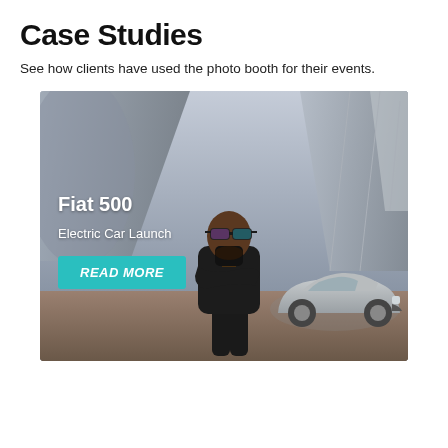Case Studies
See how clients have used the photo booth for their events.
[Figure (photo): Photo of a man in sunglasses and black outfit with arms crossed, standing in front of a Fiat 500 electric car, with a modern architectural building in the background. Overlaid text reads 'Fiat 500', 'Electric Car Launch', and a teal 'READ MORE' button.]